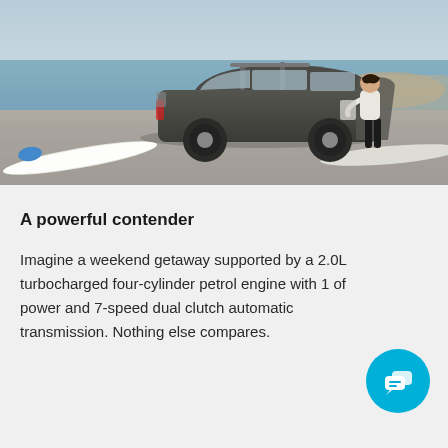[Figure (photo): A dark grey station wagon SUV parked on a pebble beach near the water. A woman in athletic wear is opening the rear door. Surfboards are visible on the ground in the foreground. The sky and water are visible in the background.]
A powerful contender
Imagine a weekend getaway supported by a 2.0L turbocharged four-cylinder petrol engine with 1 of power and 7-speed dual clutch automatic transmission. Nothing else compares.